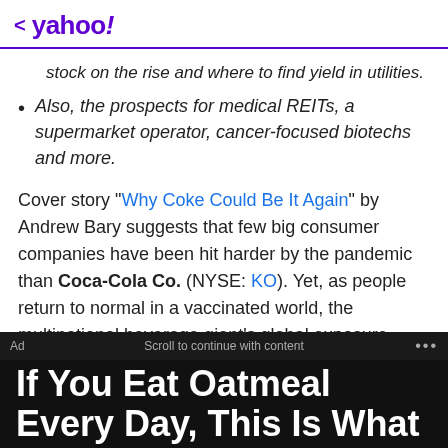< yahoo!
stock on the rise and where to find yield in utilities.
Also, the prospects for medical REITs, a supermarket operator, cancer-focused biotechs and more.
Cover story "Why Coke Could Be It Again" by Andrew Bary suggests that few big consumer companies have been hit harder by the pandemic than Coca-Cola Co. (NYSE: KO). Yet, as people return to normal in a vaccinated world, the multinational beverage giant's global exposure could help it soar to new heights.
Ad   Scroll to continue with content   ...
If You Eat Oatmeal Every Day, This Is What